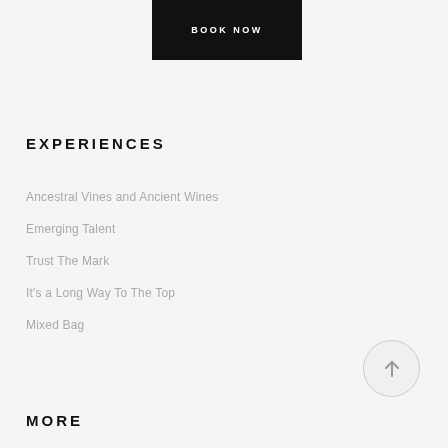[Figure (other): Black 'BOOK NOW' button]
EXPERIENCES
Ancestral Vines and Ancient Wines
Emerging Talent
Trust The Mark
It's a Long Way To The Top
Mixed Bag
[Figure (other): Circular scroll-to-top button with upward arrow]
MORE